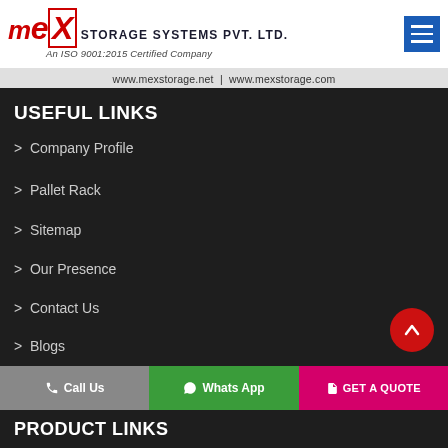MEX STORAGE SYSTEMS PVT. LTD. An ISO 9001:2015 Certified Company
www.mexstorage.net | www.mexstorage.com
USEFUL LINKS
> Company Profile
> Pallet Rack
> Sitemap
> Our Presence
> Contact Us
> Blogs
> Videos
Call Us | Whats App | GET A QUOTE
PRODUCT LINKS